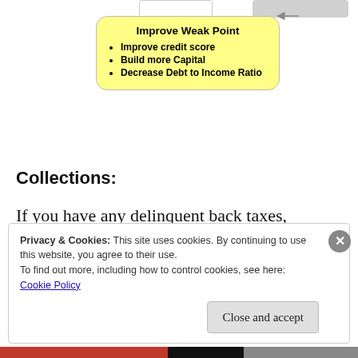[Figure (flowchart): Flowchart node labeled 'Improve Weak Point' with bullet points: Improve credit score, Build more Capital, Decrease Debt to Income Ratio. Yellow rounded rectangle with arrow pointing left from a gray box at top right.]
Collections:
If you have any delinquent back taxes, student loans they would need to be paid or brought current so you don't have any liens to the government.
Privacy & Cookies: This site uses cookies. By continuing to use this website, you agree to their use.
To find out more, including how to control cookies, see here:
Cookie Policy
Close and accept